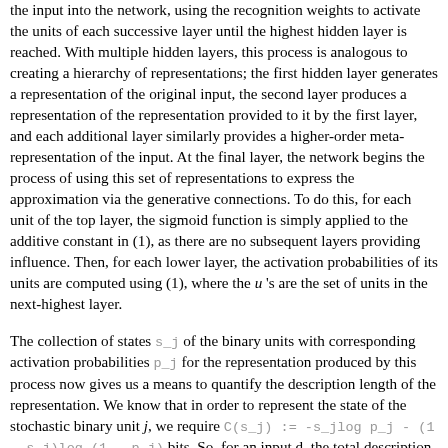the input into the network, using the recognition weights to activate the units of each successive layer until the highest hidden layer is reached. With multiple hidden layers, this process is analogous to creating a hierarchy of representations; the first hidden layer generates a representation of the original input, the second layer produces a representation of the representation provided to it by the first layer, and each additional layer similarly provides a higher-order meta-representation of the input. At the final layer, the network begins the process of using this set of representations to express the approximation via the generative connections. To do this, for each unit of the top layer, the sigmoid function is simply applied to the additive constant in (1), as there are no subsequent layers providing influence. Then, for each lower layer, the activation probabilities of its units are computed using (1), where the u 's are the set of units in the next-highest layer.
The collection of states s_j of the binary units with corresponding activation probabilities p_j for the representation produced by this process now gives us a means to quantify the description length of the representation. We know that in order to represent the state of the stochastic binary unit j, we require C(s_j) := -s_jlog p_j - (1 - s_j)log (1 - p_j) bits. So, for an input d, the total description length for representing d in terms of its learned representation \alpha is the sum of the description lengths for the individual hidden units of the